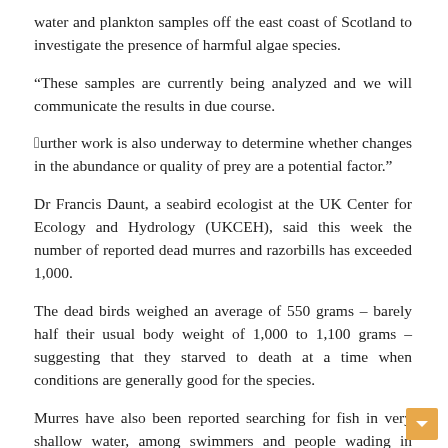water and plankton samples off the east coast of Scotland to investigate the presence of harmful algae species.
“These samples are currently being analyzed and we will communicate the results in due course.
“Further work is also underway to determine whether changes in the abundance or quality of prey are a potential factor.”
Dr Francis Daunt, a seabird ecologist at the UK Center for Ecology and Hydrology (UKCEH), said this week the number of reported dead murres and razorbills has exceeded 1,000.
The dead birds weighed an average of 550 grams – barely half their usual body weight of 1,000 to 1,100 grams – suggesting that they starved to death at a time when conditions are generally good for the species.
Murres have also been reported searching for fish in very shallow water, among swimmers and people wading in places such as Portobello and Cramond in Edinburgh.